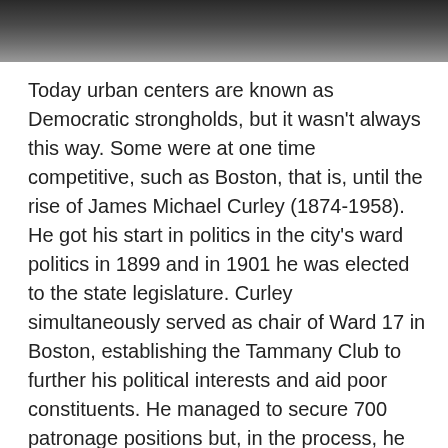[Figure (photo): Black and white photograph strip at the top of the page, showing a dark grayscale image.]
Today urban centers are known as Democratic strongholds, but it wasn't always this way. Some were at one time competitive, such as Boston, that is, until the rise of James Michael Curley (1874-1958). He got his start in politics in the city's ward politics in 1899 and in 1901 he was elected to the state legislature. Curley simultaneously served as chair of Ward 17 in Boston, establishing the Tammany Club to further his political interests and aid poor constituents. He managed to secure 700 patronage positions but, in the process, he was convicted of fraud for taking a civil service exam for a constituent to get him a job as a postman and sentenced to sixty days in jail, the time he spent reading books. Curley was elected to Boston's board of aldermen in 1903 while in jail with the campaign slogan, “he did it for a friend”. In 1910, Curley wanted to run for